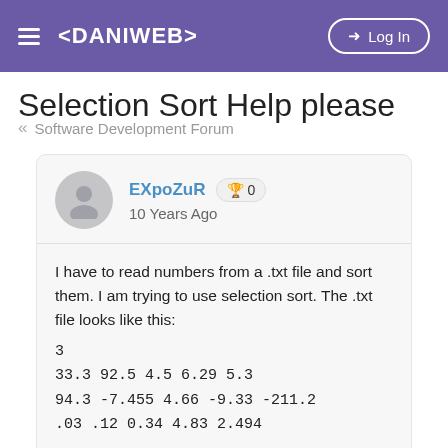≡ <DANIWEB>   → Log In
Selection Sort Help please
« Software Development Forum
EXpoZuR 🏆 0
10 Years Ago
I have to read numbers from a .txt file and sort them. I am trying to use selection sort. The .txt file looks like this:
3
33.3 92.5 4.5 6.29 5.3
94.3 -7.455 4.66 -9.33 -211.2
.03 .12 0.34 4.83 2.494

I am now working on the first 5 numbers (excluding the top number 3) which are 33.3, 92.5, 4.5, 6.29, and 5.3 trying to